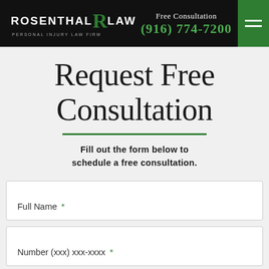[Figure (logo): Rosenthal Law personal injury law firm logo with green R and white text on black background, phone number (916) 774-7200 displayed in green]
Request Free Consultation
Fill out the form below to schedule a free consultation.
Full Name *
Number (xxx) xxx-xxxx *